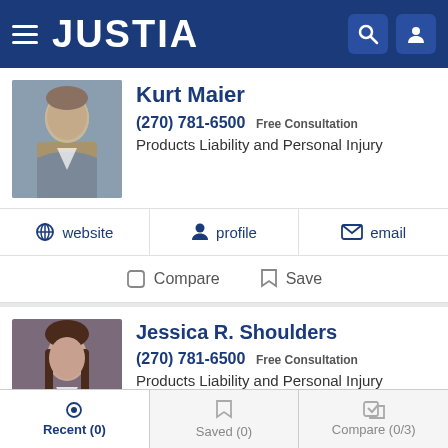JUSTIA
Kurt Maier
(270) 781-6500 Free Consultation
Products Liability and Personal Injury
website | profile | email
Compare | Save
Jessica R. Shoulders
(270) 781-6500 Free Consultation
Products Liability and Personal Injury
website | profile | email
Recent (0) | Saved (0) | Compare (0/3)